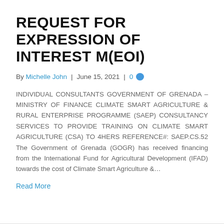REQUEST FOR EXPRESSION OF INTEREST M(EOI)
By Michelle John | June 15, 2021 | 0
INDIVIDUAL CONSULTANTS GOVERNMENT OF GRENADA – MINISTRY OF FINANCE CLIMATE SMART AGRICULTURE & RURAL ENTERPRISE PROGRAMME (SAEP) CONSULTANCY SERVICES TO PROVIDE TRAINING ON CLIMATE SMART AGRICULTURE (CSA) TO 4HERS REFERENCE#: SAEP.CS.52 The Government of Grenada (GOGR) has received financing from the International Fund for Agricultural Development (IFAD) towards the cost of Climate Smart Agriculture &…
Read More